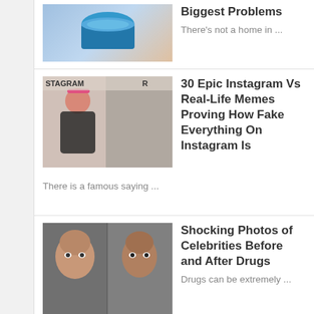[Figure (photo): Thumbnail image of a blue container/jar and skin]
Biggest Problems
There's not a home in ...
[Figure (photo): Instagram vs Real-Life meme thumbnail showing a woman in workout clothes]
30 Epic Instagram Vs Real-Life Memes Proving How Fake Everything On Instagram Is
There is a famous saying ...
[Figure (photo): Before and after photos of a celebrity]
Shocking Photos of Celebrities Before and After Drugs
Drugs can be extremely ...
[Figure (photo): Royal palace or royal setting with people]
10 Weirdest Royal Jobs That Actually Exist
It must be nice being ...
BLOG ARCHIVE